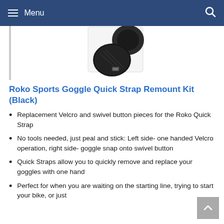Menu
[Figure (photo): Product photo of Roko Sports Goggle Quick Strap Remount Kit (Black) showing velcro and swivel button pieces on white background]
Roko Sports Goggle Quick Strap Remount Kit (Black)
Replacement Velcro and swivel button pieces for the Roko Quick Strap
No tools needed, just peal and stick: Left side- one handed Velcro operation, right side- goggle snap onto swivel button
Quick Straps allow you to quickly remove and replace your goggles with one hand
Perfect for when you are waiting on the starting line, trying to start your bike, or just